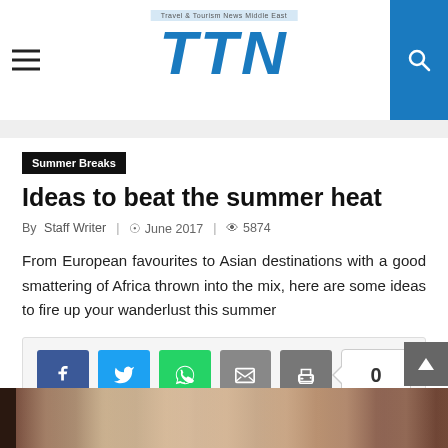TTN – Travel & Tourism News
Summer Breaks
Ideas to beat the summer heat
By Staff Writer   © June 2017   👁 5874
From European favourites to Asian destinations with a good smattering of Africa thrown into the mix, here are some ideas to fire up your wanderlust this summer
[Figure (infographic): Social share buttons: Facebook, Twitter, WhatsApp, Email, Print, and share count showing 0]
[Figure (photo): Interior photo of an elegant venue, partially visible at bottom of page]